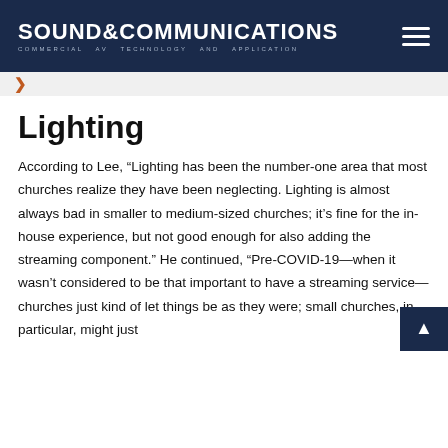SOUND & COMMUNICATIONS — COMMERCIAL AV TECHNOLOGY AND APPLICATION
Lighting
According to Lee, “Lighting has been the number-one area that most churches realize they have been neglecting. Lighting is almost always bad in smaller to medium-sized churches; it’s fine for the in-house experience, but not good enough for also adding the streaming component.” He continued, “Pre-COVID-19—when it wasn’t considered to be that important to have a streaming service—churches just kind of let things be as they were; small churches, in particular, might just